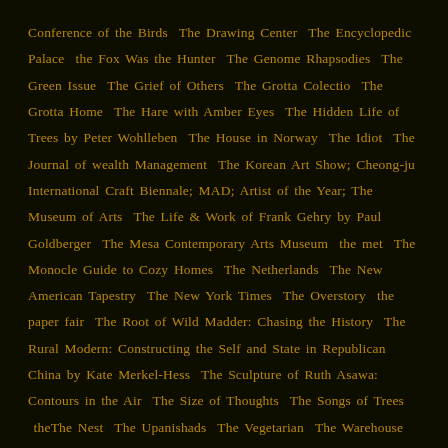Conference of the Birds  The Drawing Center  The Encyclopedic Palace  the Fox Was the Hunter  The Genome Rhapsodies  The Green Issue  The Grief of Others  The Grotta Colectio  The Grotta Home  The Hare with Amber Eyes  The Hidden Life of Trees by Peter Wohlleben  The House in Norway  The Idiot  The Journal of wealth Management  The Korean Art Show; Cheong-ju International Craft Biennale; MAD; Artist of the Year; The Museum of Arts  The Life & Work of Frank Gehry by Paul Goldberger  The Mesa Contemporary Arts Museum  the met  The Monocle Guide to Cozy Homes  The Netherlands  The New American Tapestry  The New York Times  The Overstory  the paper fair  The Root of Wild Madder: Chasing the History  The Rural Modern: Constructing the Self and State in Republican China by Kate Merkel-Hess  The Sculpture of Ruth Asawa: Contours in the Air  The Size of Thoughts  The Songs of Trees  theThe Nest  The Upanishads  The Vegetarian  The Warehouse  The Warp: A Weaving Resource  The Whitney Museum  the Wilton Bulletin and the Norwalk Hour  The Wilton Historical Society  The Wilton Public Library  The Wind is my Mother: The Life and Teachings of a Native American Shaman by Marcellus "Bear Heart" Williams  The Wisdom of Wolves  The Words and Work of Julia Parker  The Works of Kyoko Kumai  The World of Donald Evans  This Way and That  Thomas Heatherwick  Thomas Hucker  Thread Ball  thread sculpture  Three Gorges Dam Project  Through the Curtain  Tim Johnson  Tim Prentice  To Cross  Tokara  Tom Grotta  Tom Holert  Tom Lubnaux  Tom McColley  Toms Pauli Foundation Too  To Plait  Toshiko